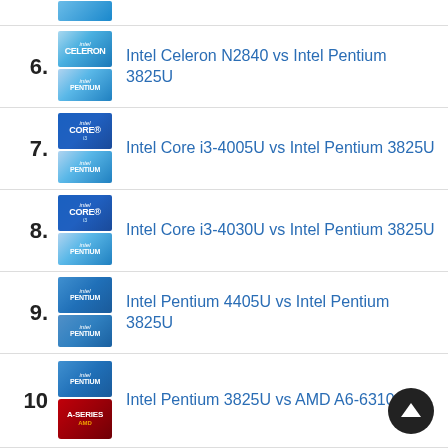Intel Celeron N2840 vs Intel Pentium 3825U
Intel Core i3-4005U vs Intel Pentium 3825U
Intel Core i3-4030U vs Intel Pentium 3825U
Intel Pentium 4405U vs Intel Pentium 3825U
Intel Pentium 3825U vs AMD A6-6310